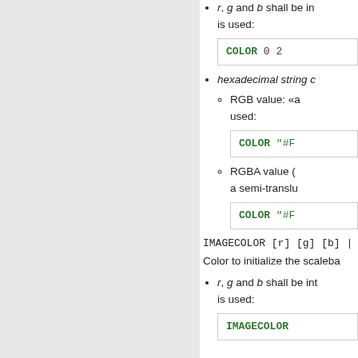r, g and b shall be integers between 0 and 255. The following syntax is used:
COLOR 0 2
hexadecimal string c
RGB value: «a ... used:
COLOR "#F
RGBA value ( ... a semi-translu
COLOR "#F
IMAGECOLOR [r] [g] [b] | [hexade
Color to initialize the scaleba
r, g and b shall be integers ... is used:
IMAGECOLOR